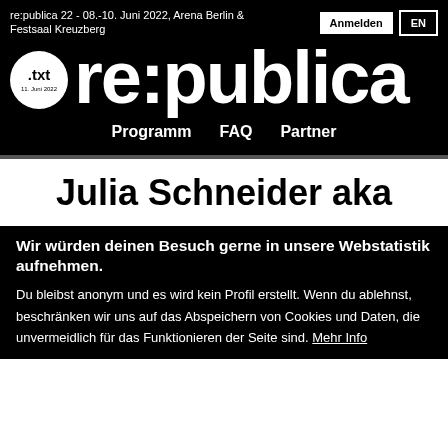re:publica 22 - 08.-10. Juni 2022, Arena Berlin & Festsaal Kreuzberg
re:publica
Programm  FAQ  Partner
Julia Schneider aka
Wir würden deinen Besuch gerne in unsere Webstatistik aufnehmen.
Du bleibst anonym und es wird kein Profil erstellt. Wenn du ablehnst, beschränken wir uns auf das Abspeichern von Cookies und Daten, die unvermeidlich für das Funktionieren der Seite sind. Mehr Info